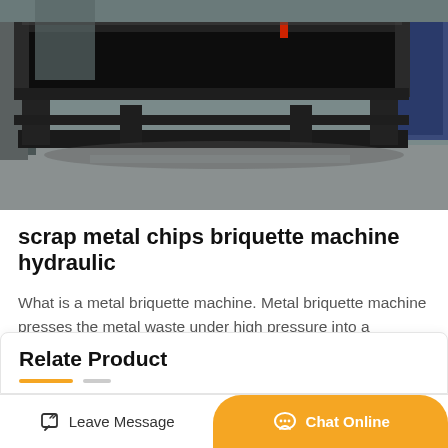[Figure (photo): Industrial scrap metal chips briquette machine (hydraulic press) in a factory setting, large black metal frame machine on a gray concrete floor]
scrap metal chips briquette machine hydraulic
What is a metal briquette machine. Metal briquette machine presses the metal waste under high pressure into a briquette form. Normally it is used to reduce the storage cost as well as the conversion ratio in the…
GET PRICE
Relate Product
Leave Message
Chat Online